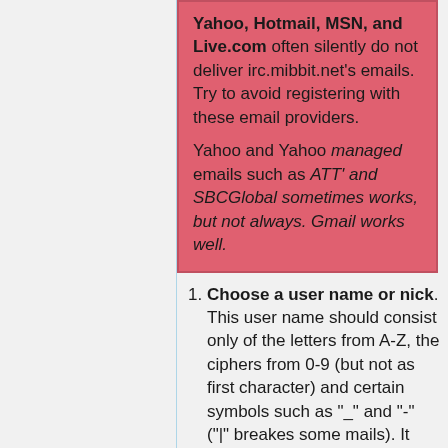Yahoo, Hotmail, MSN, and Live.com often silently do not deliver irc.mibbit.net's emails. Try to avoid registering with these email providers.

Yahoo and Yahoo managed emails such as ATT' and SBCGlobal sometimes works, but not always. Gmail works well.
Choose a user name or nick. This user name should consist only of the letters from A-Z, the ciphers from 0-9 (but not as first character) and certain symbols such as "_" and "-" ("|" breakes some mails). It may have a maximum of 16 characters. Please note that some nicknames